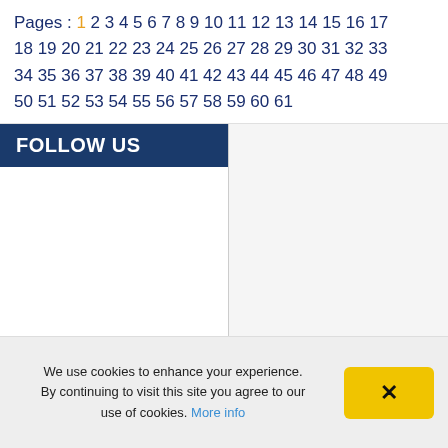Pages : 1 2 3 4 5 6 7 8 9 10 11 12 13 14 15 16 17 18 19 20 21 22 23 24 25 26 27 28 29 30 31 32 33 34 35 36 37 38 39 40 41 42 43 44 45 46 47 48 49 50 51 52 53 54 55 56 57 58 59 60 61
FOLLOW US
We use cookies to enhance your experience. By continuing to visit this site you agree to our use of cookies. More info